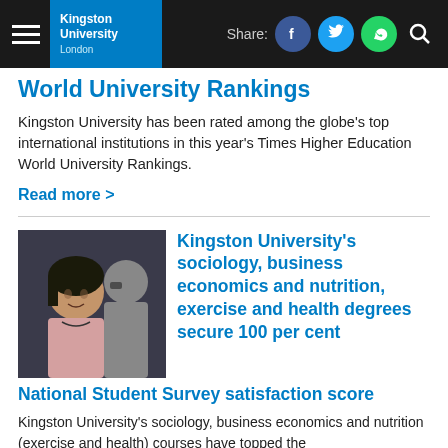Kingston University London | Share: [Facebook] [Twitter] [WhatsApp] [Search]
World University Rankings
Kingston University has been rated among the globe's top international institutions in this year's Times Higher Education World University Rankings.
Read more >
[Figure (photo): Photo of a woman in a classroom setting]
Kingston University's sociology, business economics and nutrition, exercise and health degrees secure 100 per cent National Student Survey satisfaction score
Kingston University's sociology, business economics and nutrition (exercise and health) courses have topped the